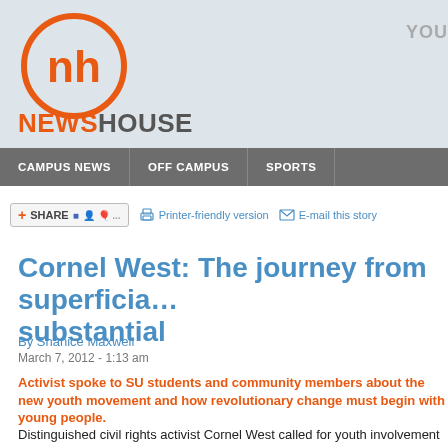[Figure (logo): NewsHouse logo: orange circle with stylized 'nh' monogram in white, with 'NEWSHOUSE' text below in orange and grey]
YOU
CAMPUS NEWS | OFF CAMPUS | SPORTS
[Figure (screenshot): Share button with social media icons, Printer-friendly version link, E-mail this story link]
Cornel West: The journey from superficia… substantial
By Shanice Maxwell
March 7, 2012 - 1:13 am
Activist spoke to SU students and community members about the new youth movement and how revolutionary change must begin with young people.
Distinguished civil rights activist Cornel West called for youth involvement in politics Tuesday night during a speech in Goldstein Auditorium.